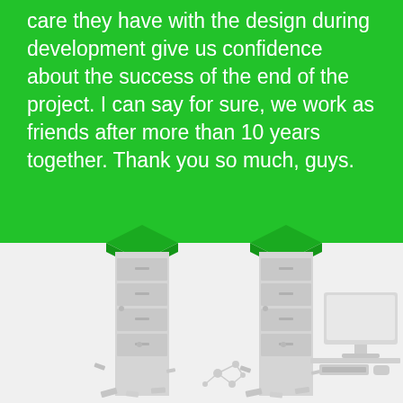care they have with the design during development give us confidence about the success of the end of the project. I can say for sure, we work as friends after more than 10 years together. Thank you so much, guys.
[Figure (illustration): Two green open filing cabinets (box tops in dark green) with grey filing cabinet bodies containing document drawers, scattered papers around the bottom. On the right side, a grey computer monitor on a desk with a keyboard and mouse. A small grey molecule/network icon in the lower center area.]